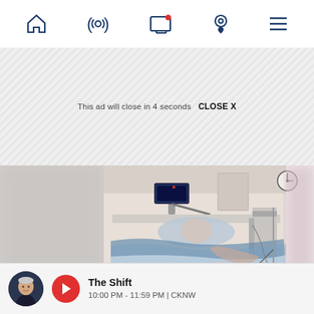[Figure (screenshot): Mobile app navigation bar with home, radio/broadcast, TV with red notification dot, location pin, and hamburger menu icons in dark navy blue]
This ad will close in 4 seconds   CLOSE X
[Figure (photo): Hospital room photo showing a patient lying in a hospital bed covered with blue and white blankets/sheets, with medical equipment visible in the background including a monitor on an arm mount and a wall clock. The patient's face is blurred. Adjacent left and right panels are blurred.]
[Figure (screenshot): Radio player bar at bottom showing host photo thumbnail, red circular play button, show name 'The Shift' and time '10:00 PM - 11:59 PM | CKNW']